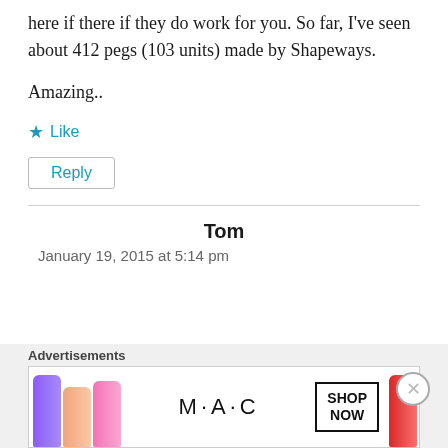here if there if they do work for you. So far, I've seen about 412 pegs (103 units) made by Shapeways.
Amazing..
★ Like
Reply
Tom
January 19, 2015 at 5:14 pm
[Figure (other): Advertisement banner for MAC cosmetics showing lipsticks and a SHOP NOW button]